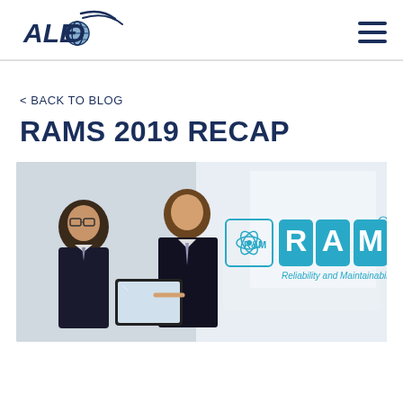[Figure (logo): ALEO company logo with globe and swoosh graphic in navy blue and gold]
< BACK TO BLOG
RAMS 2019 RECAP
[Figure (photo): Two businessmen in suits looking at a tablet device, with RAMS Reliability and Maintainability Symposium logo overlay on right side]